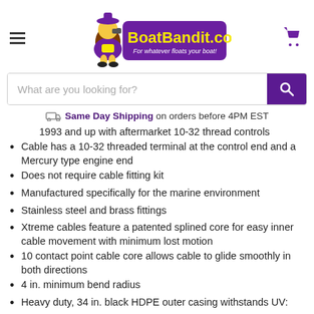[Figure (logo): BoatBandit.com logo with cartoon character and purple background, tagline 'For whatever floats your boat!']
What are you looking for?
Same Day Shipping on orders before 4PM EST
1993 and up with aftermarket 10-32 thread controls
Cable has a 10-32 threaded terminal at the control end and a Mercury type engine end
Does not require cable fitting kit
Manufactured specifically for the marine environment
Stainless steel and brass fittings
Xtreme cables feature a patented splined core for easy inner cable movement with minimum lost motion
10 contact point cable core allows cable to glide smoothly in both directions
4 in. minimum bend radius
Heavy duty, 34 in. black HDPE outer casing withstands UV: